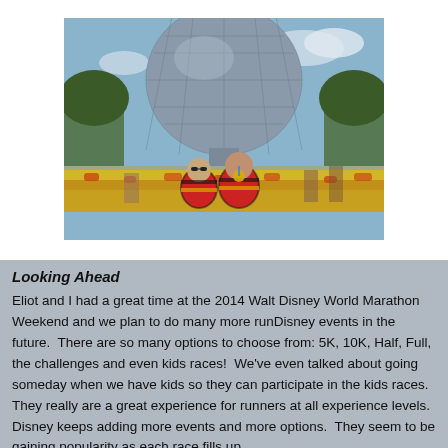[Figure (photo): Two people wearing colorful tie-dye shirts standing in front of Epcot's Spaceship Earth sphere, surrounded by yellow and red flowers]
Looking Ahead
Eliot and I had a great time at the 2014 Walt Disney World Marathon Weekend and we plan to do many more runDisney events in the future.  There are so many options to choose from: 5K, 10K, Half, Full, the challenges and even kids races!  We've even talked about going someday when we have kids so they can participate in the kids races.  They really are a great experience for runners at all experience levels.  Disney keeps adding more events and more options.  They seem to be gaining popularity as each race fills up